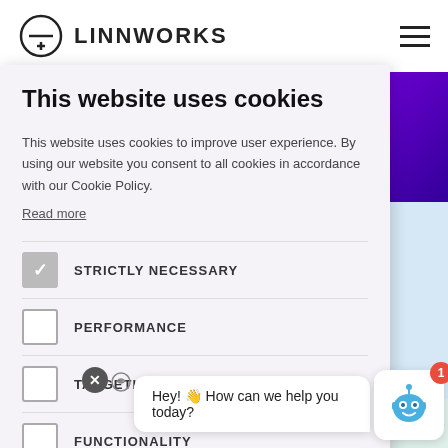LINNWORKS
[Figure (screenshot): Cookie consent modal overlay on Linnworks website. Background shows navigation bar with Linnworks logo, purple hero image, and article title text. Foreground shows cookie consent dialog with options: STRICTLY NECESSARY (checked), PERFORMANCE, TARGETING, FUNCTIONALITY, with ACCEPT ALL and DECLINE ALL buttons. Chat widget visible in bottom right.]
This website uses cookies
This website uses cookies to improve user experience. By using our website you consent to all cookies in accordance with our Cookie Policy.
Read more
STRICTLY NECESSARY
PERFORMANCE
TARGETING
FUNCTIONALITY
ACCEPT ALL
DECLINE ALL
SHOW DETAILS
Hey! 👋 How can we help you today?